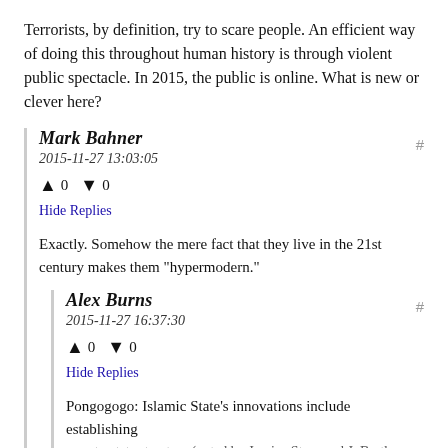Terrorists, by definition, try to scare people. An efficient way of doing this throughout human history is through violent public spectacle. In 2015, the public is online. What is new or clever here?
Mark Bahner
2015-11-27 13:03:05
↑ 0 ↓ 0
Hide Replies
Exactly. Somehow the mere fact that they live in the 21st century makes them "hypermodern."
Alex Burns
2015-11-27 16:37:30
↑ 0 ↓ 0
Hide Replies
Pongogogo: Islamic State's innovations include establishing a proto-state structure (noted by Jessica Stern and J. M. Berger...